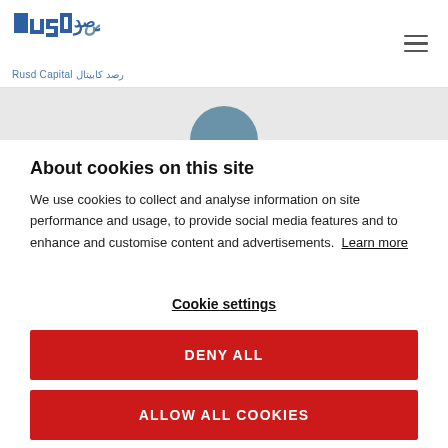Rusd Capital رصد كابيتال
[Figure (logo): Rusd Capital logo with Arabic and English text]
About cookies on this site
We use cookies to collect and analyse information on site performance and usage, to provide social media features and to enhance and customise content and advertisements. Learn more
Cookie settings
DENY ALL
ALLOW ALL COOKIES